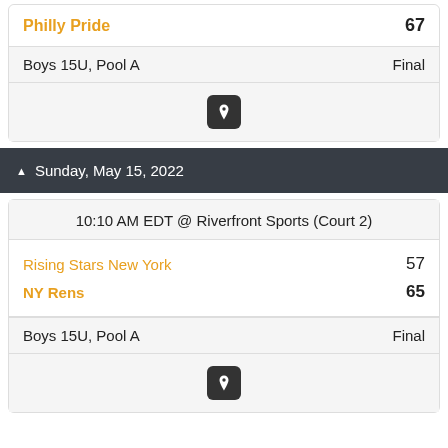Philly Pride — 67
Boys 15U, Pool A — Final
[Figure (other): Location pin icon button]
Sunday, May 15, 2022
10:10 AM EDT @ Riverfront Sports (Court 2)
Rising Stars New York 57 / NY Rens 65
Boys 15U, Pool A — Final
[Figure (other): Location pin icon button]